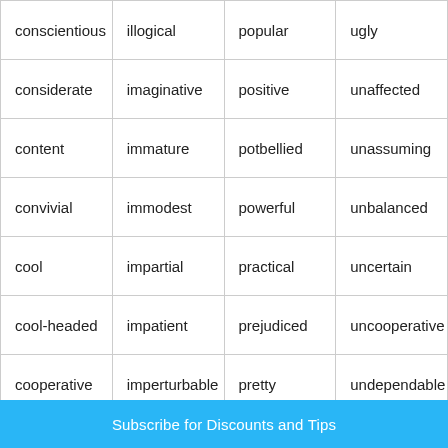| conscientious | illogical | popular | ugly |
| considerate | imaginative | positive | unaffected |
| content | immature | potbellied | unassuming |
| convivial | immodest | powerful | unbalanced |
| cool | impartial | practical | uncertain |
| cool-headed | impatient | prejudiced | uncooperative |
| cooperative | imperturbable | pretty | undependable |
| cordial | impetuous | proactive | understanding |
| courageous | impractical | proficient | unemotional |
| courteous | impressionable | proud | unfriendly |
Subscribe for Discounts and Tips